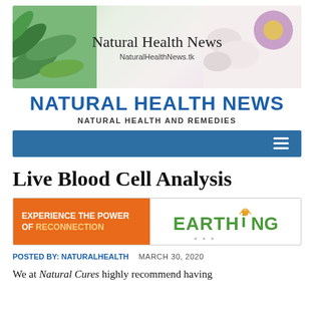[Figure (illustration): Natural Health News website banner with herbs, flowers, and natural elements. Text reads 'Natural Health News' and 'NaturalHealthNews.tk']
NATURAL HEALTH NEWS
NATURAL HEALTH AND REMEDIES
[Figure (screenshot): Blue navigation bar with hamburger menu icon on the right]
Live Blood Cell Analysis
[Figure (other): Advertisement banner: left side orange with text 'EXPERIENCE THE POWER OF RECONNECTION', right side white with Earthing logo]
POSTED BY: NATURALHEALTH   MARCH 30, 2020
We at Natural Cures highly recommend having